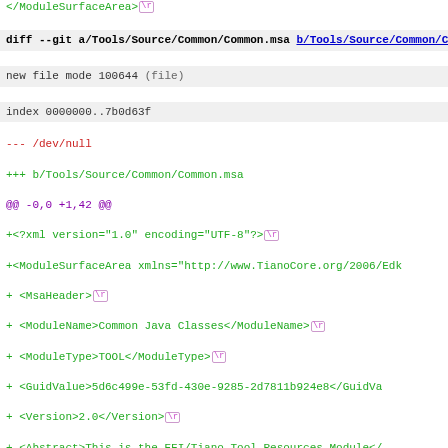</ModuleSurfaceArea> \r
diff --git a/Tools/Source/Common/Common.msa b/Tools/Source/Common/Common.msa
new file mode 100644 (file)
index 0000000..7b0d63f
--- /dev/null
+++ b/Tools/Source/Common/Common.msa
@@ -0,0 +1,42 @@
+<?xml version="1.0" encoding="UTF-8"?> \r
+<ModuleSurfaceArea xmlns="http://www.TianoCore.org/2006/Edk
+  <MsaHeader> \r
+    <ModuleName>Common Java Classes</ModuleName> \r
+    <ModuleType>TOOL</ModuleType> \r
+    <GuidValue>5d6c499e-53fd-430e-9285-2d7811b924e8</GuidVa
+    <Version>2.0</Version> \r
+    <Abstract>This is the EFI/Tiano Tool Resources Module</
+    <Description> \r
+      This Module provides the EFI/Tiano Tools that are use
+      Modules and Platform Binary Files (PBF) \r
+      These tools require compilation only once if the Deve
+      the Developer's choice of HOST tool chain are stable.
+      updates either the OS or the HOST tool chain, these t
+    </Description> \r
+    <Copyright>Copyright 2005-2006, Intel Corporation</Copy
+    <License> \r
+      All rights reserved. \r
+      This program and the accompanying materials \r
+      are licensed and made available under the terms and c
+      BSD License which accompanies this distribution.  The
+      license may be found at \r
+      http://opensource.org/licenses/bsd-license.php \r